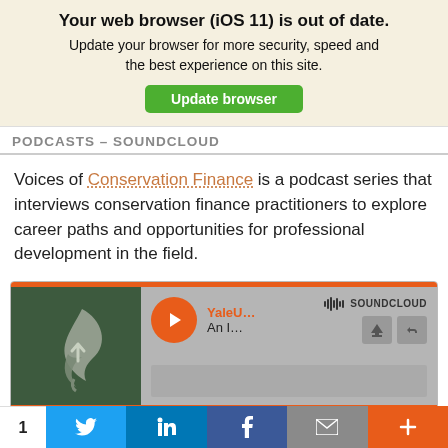Your web browser (iOS 11) is out of date. Update your browser for more security, speed and the best experience on this site. Update browser
PODCASTS – SOUNDCLOUD
Voices of Conservation Finance is a podcast series that interviews conservation finance practitioners to explore career paths and opportunities for professional development in the field.
[Figure (screenshot): SoundCloud embedded player showing a Yale University podcast episode with a dark green flame/leaf logo thumbnail, orange play button, user label 'YaleU...' and track label 'An I...', SoundCloud branding, download and share buttons, and orange progress bars at top and bottom.]
1  [Twitter] [LinkedIn] [Facebook] [Email] [+]